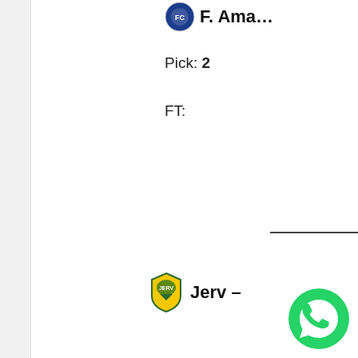[Figure (logo): Football club logo (blue/white) top right]
F. Ama…
Pick: 2
FT:
[Figure (logo): Jerv football club logo (yellow/blue)]
Jerv –
Pick: 2
FT:
DOUBLE Free P
[Figure (logo): FC logo (circular, red/white)]
L…g –
Pick: 1
[Figure (logo): WhatsApp button (green circle)]